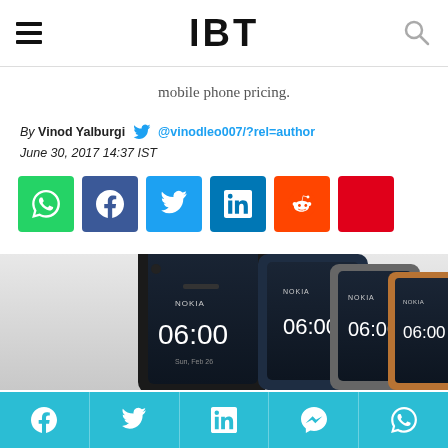IBT
mobile phone pricing.
By Vinod Yalburgi  @vinodleo007/?rel=author
June 30, 2017 14:37 IST
[Figure (screenshot): Social share buttons: WhatsApp (green), Facebook (blue), Twitter (light blue), LinkedIn (dark blue), Reddit (orange), red button]
[Figure (photo): Multiple Nokia smartphones arranged in a fan layout showing different color variants including black, dark blue, silver, and copper/gold, all displaying the time 06:00 on screen]
Social share footer bar with Facebook, Twitter, LinkedIn, Messenger, WhatsApp icons on teal/cyan background